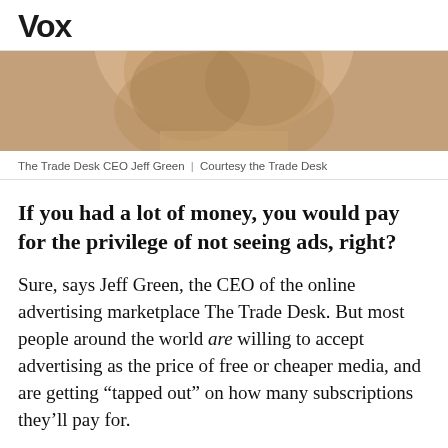Vox
[Figure (photo): Close-up photo of a person's neck and lower jaw, sepia/warm tone — The Trade Desk CEO Jeff Green]
The Trade Desk CEO Jeff Green | Courtesy the Trade Desk
If you had a lot of money, you would pay for the privilege of not seeing ads, right?
Sure, says Jeff Green, the CEO of the online advertising marketplace The Trade Desk. But most people around the world are willing to accept advertising as the price of free or cheaper media, and are getting “tapped out” on how many subscriptions they’ll pay for.